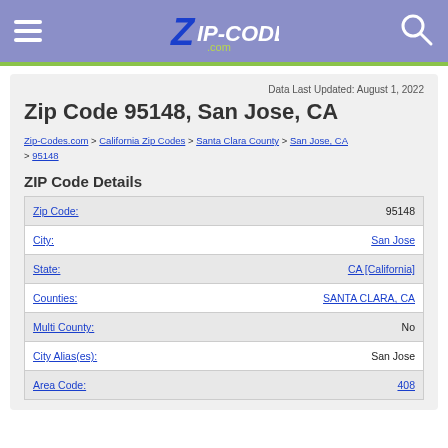Zip-Codes.com header with navigation menu and search
Data Last Updated: August 1, 2022
Zip Code 95148, San Jose, CA
Zip-Codes.com > California Zip Codes > Santa Clara County > San Jose, CA > 95148
ZIP Code Details
| Field | Value |
| --- | --- |
| Zip Code: | 95148 |
| City: | San Jose |
| State: | CA [California] |
| Counties: | SANTA CLARA, CA |
| Multi County: | No |
| City Alias(es): | San Jose |
| Area Code: | 408 |